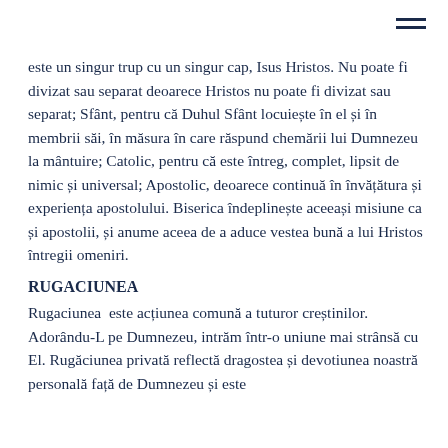este un singur trup cu un singur cap, Isus Hristos. Nu poate fi divizat sau separat deoarece Hristos nu poate fi divizat sau separat; Sfânt, pentru că Duhul Sfânt locuiește în el și în membrii săi, în măsura în care răspund chemării lui Dumnezeu la mântuire; Catolic, pentru că este întreg, complet, lipsit de nimic și universal; Apostolic, deoarece continuă în învățătura și experiența apostolului. Biserica îndeplinește aceeași misiune ca și apostolii, și anume aceea de a aduce vestea bună a lui Hristos întregii omeniri.
RUGACIUNEA
Rugaciunea  este acțiunea comună a tuturor creștinilor. Adorându-L pe Dumnezeu, intrăm într-o uniune mai strânsă cu El. Rugăciunea privată reflectă dragostea și devotiunea noastră personală față de Dumnezeu și este